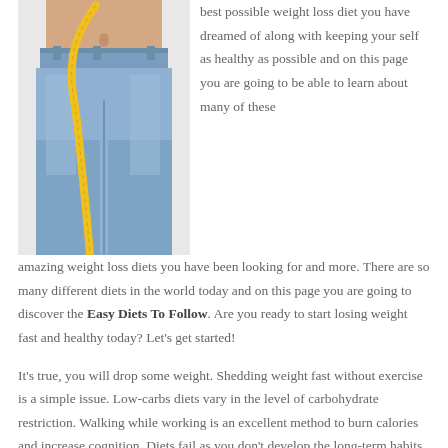[Figure (photo): A person wearing jeans with a yellow measuring tape wrapped around the waist area, suggesting weight loss or dieting topic.]
best possible weight loss diet you have dreamed of along with keeping your self as healthy as possible and on this page you are going to be able to learn about many of these amazing weight loss diets you have been looking for and more. There are so many different diets in the world today and on this page you are going to discover the Easy Diets To Follow. Are you ready to start losing weight fast and healthy today? Let's get started!
It's true, you will drop some weight. Shedding weight fast without exercise is a simple issue. Low-carbs diets vary in the level of carbohydrate restriction. Walking while working is an excellent method to burn calories and increase cognition. Diets fail as you don't develop the long-term habits necessary to sustain your weight reduction. There is not one diet which works perfectly with each individual. People today commit to numerous diets and physical fitness routines for many explanations. You should learn how to follow your entire body. Our entire body prefers sugar since it's simple to find energy...